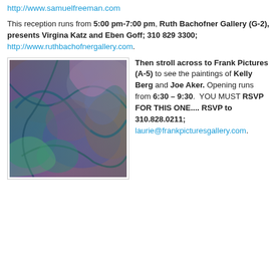http://www.samuelfreeman.com
This reception runs from 5:00 pm-7:00 pm, Ruth Bachofner Gallery (G-2), presents Virgina Katz and Eben Goff; 310 829 3300; http://www.ruthbachofnergallery.com.
[Figure (photo): Abstract colorful painting with vibrant reds, purples, greens and blues in swirling, dynamic composition]
Then stroll across to Frank Pictures (A-5) to see the paintings of Kelly Berg and Joe Aker. Opening runs from 6:30 – 9:30.  YOU MUST RSVP FOR THIS ONE.... RSVP to 310.828.0211; laurie@frankpicturesgallery.com.